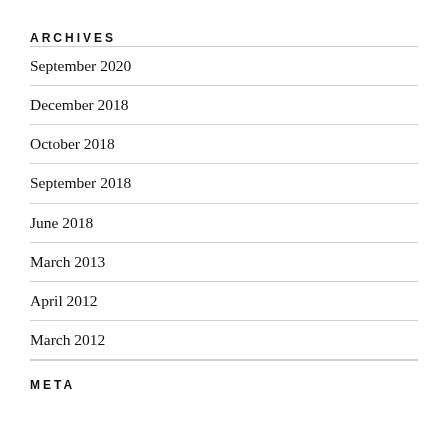ARCHIVES
September 2020
December 2018
October 2018
September 2018
June 2018
March 2013
April 2012
March 2012
META